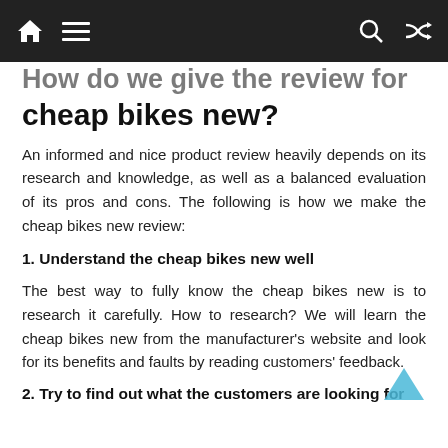Navigation bar with home, menu, search, and shuffle icons
How do we give the review for cheap bikes new?
An informed and nice product review heavily depends on its research and knowledge, as well as a balanced evaluation of its pros and cons. The following is how we make the cheap bikes new review:
1. Understand the cheap bikes new well
The best way to fully know the cheap bikes new is to research it carefully. How to research? We will learn the cheap bikes new from the manufacturer's website and look for its benefits and faults by reading customers' feedback.
2. Try to find out what the customers are looking for